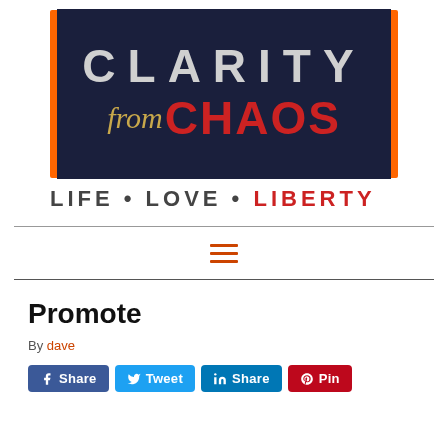[Figure (logo): Clarity from CHAOS logo with orange border, dark navy background. Top text CLARITY in large light gray letters, below 'from' in gold italic script and 'CHAOS' in bold red. Below the box: LIFE • LOVE • LIBERTY tagline with LIBERTY in red.]
[Figure (other): Hamburger/menu icon - three horizontal orange lines stacked]
Promote
By dave
[Figure (other): Social share buttons: Share (Facebook, blue), Tweet (Twitter, light blue), Share (LinkedIn, blue), Pin (Pinterest, red)]